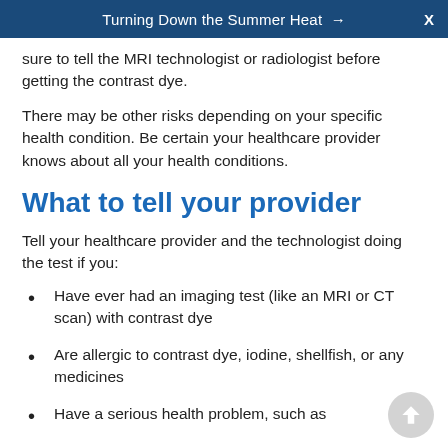Turning Down the Summer Heat → X
sure to tell the MRI technologist or radiologist before getting the contrast dye.
There may be other risks depending on your specific health condition. Be certain your healthcare provider knows about all your health conditions.
What to tell your provider
Tell your healthcare provider and the technologist doing the test if you:
Have ever had an imaging test (like an MRI or CT scan) with contrast dye
Are allergic to contrast dye, iodine, shellfish, or any medicines
Have a serious health problem, such as